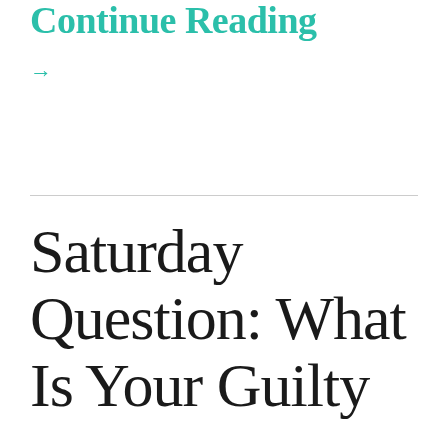Continue Reading
→
Saturday Question: What Is Your Guilty